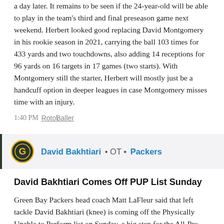a day later. It remains to be seen if the 24-year-old will be able to play in the team's third and final preseason game next weekend. Herbert looked good replacing David Montgomery in his rookie season in 2021, carrying the ball 103 times for 433 yards and two touchdowns, also adding 14 receptions for 96 yards on 16 targets in 17 games (two starts). With Montgomery still the starter, Herbert will mostly just be a handcuff option in deeper leagues in case Montgomery misses time with an injury.
1:40 PM  RotoBaller
[Figure (other): Green Bay Packers team logo — circular green and yellow emblem with stylized G]
David Bakhtiari • OT • Packers
David Bakhtiari Comes Off PUP List Sunday
Green Bay Packers head coach Matt LaFleur said that left tackle David Bakhtiari (knee) is coming off the Physically Unable to Perform list on Sunday, a big step for the All-Pro left tackle. "It's just the next step but we are excited to get him out there on the grass and we'll take it one day at a time," LaFleur said. Bakhtiari still has a ways to go in his recovery from a torn ACL that he suffered in 2020, and he